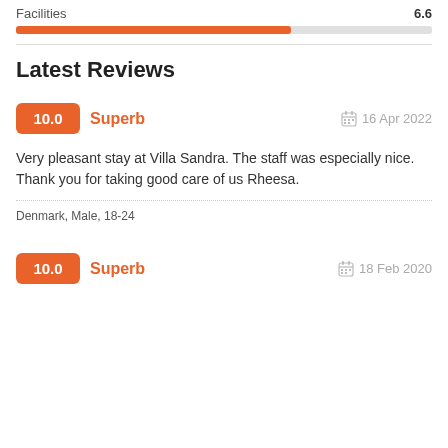Facilities  6.6
[Figure (infographic): Progress bar showing Facilities score of 6.6 out of 10, filled approximately 66% in orange]
Latest Reviews
10.0  Superb  16 Apr 2022
Very pleasant stay at Villa Sandra. The staff was especially nice. Thank you for taking good care of us Rheesa.
Denmark, Male, 18-24
10.0  Superb  18 Feb 2020